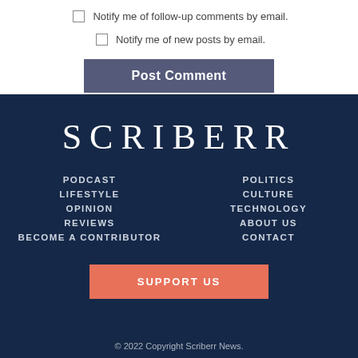Notify me of follow-up comments by email.
Notify me of new posts by email.
Post Comment
SCRIBERR
PODCAST
LIFESTYLE
OPINION
REVIEWS
BECOME A CONTRIBUTOR
POLITICS
CULTURE
TECHNOLOGY
ABOUT US
CONTACT
SUPPORT US
© 2022 Copyright Scriberr News.